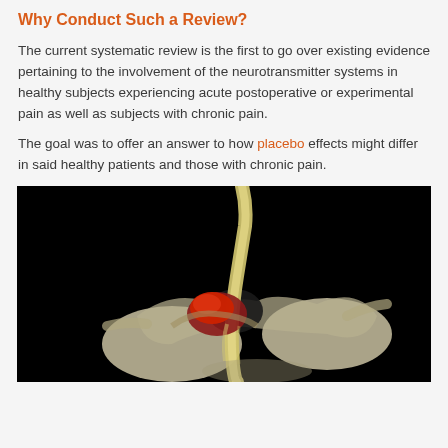Why Conduct Such a Review?
The current systematic review is the first to go over existing evidence pertaining to the involvement of the neurotransmitter systems in healthy subjects experiencing acute postoperative or experimental pain as well as subjects with chronic pain.
The goal was to offer an answer to how placebo effects might differ in said healthy patients and those with chronic pain.
[Figure (photo): Close-up photograph of a spinal vertebra model on a black background, showing a herniated disc with red tissue and a yellowish spinal cord/nerve structure passing through the vertebral canal.]